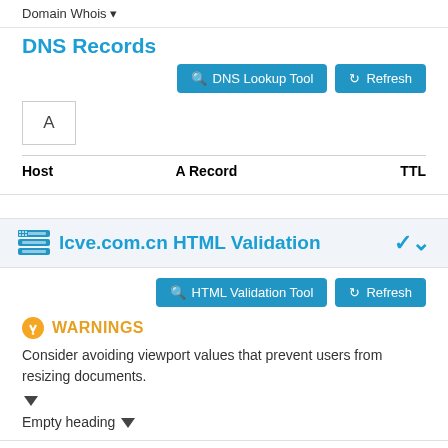Domain Whois ▾
DNS Records
DNS Lookup Tool  Refresh
| Host | A Record | TTL |
| --- | --- | --- |
lcve.com.cn HTML Validation
HTML Validation Tool  Refresh
WARNINGS
Consider avoiding viewport values that prevent users from resizing documents.
Empty heading ▾